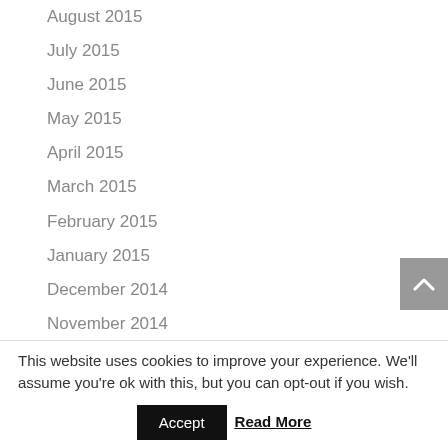August 2015
July 2015
June 2015
May 2015
April 2015
March 2015
February 2015
January 2015
December 2014
November 2014
September 2014
This website uses cookies to improve your experience. We'll assume you're ok with this, but you can opt-out if you wish.
Accept
Read More